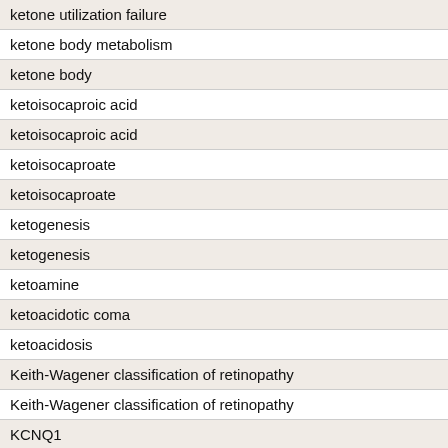| ketone utilization failure |
| ketone body metabolism |
| ketone body |
| ketoisocaproic acid |
| ketoisocaproic acid |
| ketoisocaproate |
| ketoisocaproate |
| ketogenesis |
| ketogenesis |
| ketoamine |
| ketoacidotic coma |
| ketoacidosis |
| Keith-Wagener classification of retinopathy |
| Keith-Wagener classification of retinopathy |
| KCNQ1 |
| KCNJ11 |
| KCNJ11 |
| Kaup index |